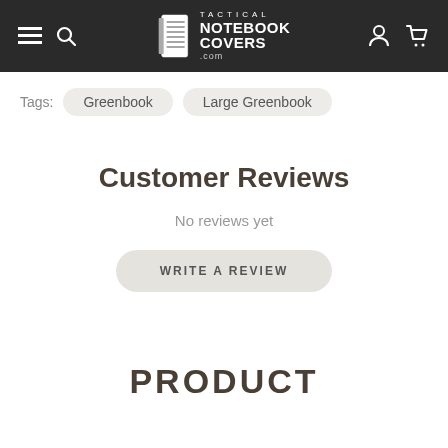Tactical Notebook Covers .com
Tags: Greenbook  Large Greenbook
Customer Reviews
No reviews yet
WRITE A REVIEW
PRODUCT